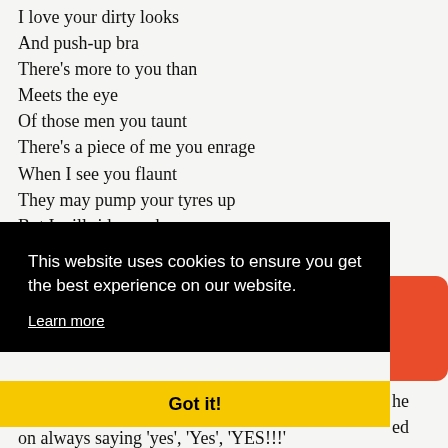I love your dirty looks
And push-up bra
There's more to you than
Meets the eye
Of those men you taunt
There's a piece of me you enrage
When I see you flaunt
They may pump your tyres up
But I will ride you home.

Happy to be your plaything
Happy to be your...
This website uses cookies to ensure you get the best experience on our website.
Learn more
Got it!
he
ed
on always saying 'yes', 'Yes', 'YES!!!'